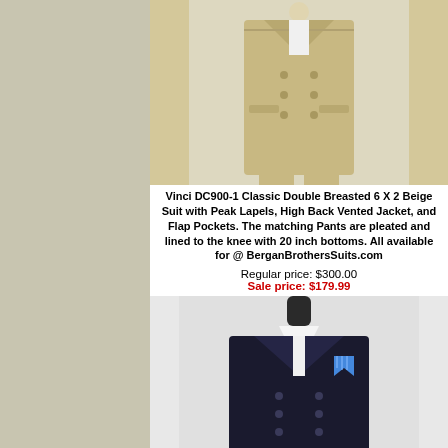[Figure (photo): Beige double breasted suit on mannequin, full body shot against light background]
Vinci DC900-1 Classic Double Breasted 6 X 2 Beige Suit with Peak Lapels, High Back Vented Jacket, and Flap Pockets. The matching Pants are pleated and lined to the knee with 20 inch bottoms. All available for @ BerganBrothersSuits.com
Regular price: $300.00
Sale price: $179.99
[Figure (photo): Dark navy double breasted suit jacket on mannequin with blue tie and pocket square, upper body shot]